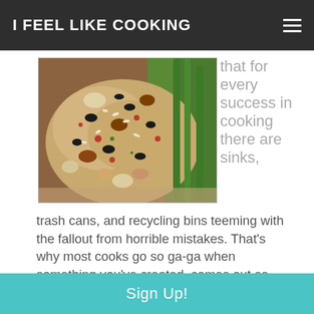I FEEL LIKE COOKING
[Figure (photo): Close-up photo of a cooked grain and bean dish with black beans, red beans, and rice on a plate with green vegetables in the background.]
that for every success in cooking there are sinks, trash cans, and recycling bins teeming with the fallout from horrible mistakes. That's why most cooks go so ga-ga when something you've created, comes out as good, or BETTER than you imagined.
That's what happened with this dish.
Sign Up!